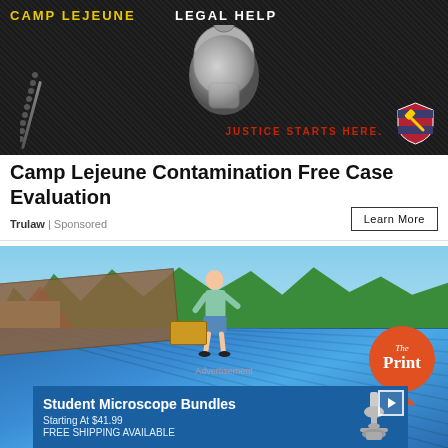[Figure (photo): Camp Lejeune Legal Help advertisement banner with dark textured background, dog tags, and 'JUSTICE STARTS HERE.' text with American flag shield icon. Yellow text reads 'CAMP LEJEUNE' and white text reads 'LEGAL HELP'.]
Camp Lejeune Contamination Free Case Evaluation
Trulaw | Sponsored
[Figure (photo): Person working on a blue metal roof, with trees and houses visible in background. 'The Print' orange circular badge visible in lower right. 'Advertisement' label in center. Inner banner ad for Student Microscope Bundles showing microscope image.]
Advertisement
Student Microscope Bundles
Starting At $41.99
FREE SHIPPING AVAILABLE